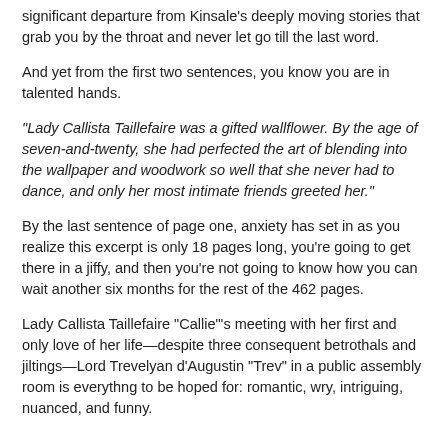significant departure from Kinsale's deeply moving stories that grab you by the throat and never let go till the last word.
And yet from the first two sentences, you know you are in talented hands.
"Lady Callista Taillefaire was a gifted wallflower. By the age of seven-and-twenty, she had perfected the art of blending into the wallpaper and woodwork so well that she never had to dance, and only her most intimate friends greeted her."
By the last sentence of page one, anxiety has set in as you realize this excerpt is only 18 pages long, you're going to get there in a jiffy, and then you're not going to know how you can wait another six months for the rest of the 462 pages.
Lady Callista Taillefaire "Callie"'s meeting with her first and only love of her life—despite three consequent betrothals and jiltings—Lord Trevelyan d'Augustin "Trev" in a public assembly room is everythng to be hoped for: romantic, wry, intriguing, nuanced, and funny.